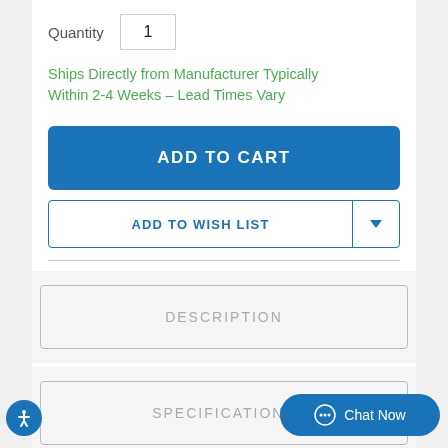Quantity  1
Ships Directly from Manufacturer Typically Within 2-4 Weeks – Lead Times Vary
ADD TO CART
ADD TO WISH LIST
DESCRIPTION
SPECIFICATIONS
CUSTOMER REVIEWS
Chat Now